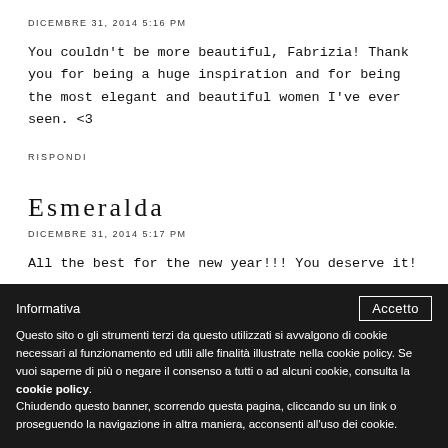DICEMBRE 31, 2014 5:16 PM
You couldn't be more beautiful, Fabrizia! Thank you for being a huge inspiration and for being the most elegant and beautiful women I've ever seen. <3
RISPONDI
Esmeralda
DICEMBRE 31, 2014 5:17 PM
All the best for the new year!!! You deserve it!
Informativa
Questo sito o gli strumenti terzi da questo utilizzati si avvalgono di cookie necessari al funzionamento ed utili alle finalità illustrate nella cookie policy. Se vuoi saperne di più o negare il consenso a tutti o ad alcuni cookie, consulta la cookie policy.
Chiudendo questo banner, scorrendo questa pagina, cliccando su un link o proseguendo la navigazione in altra maniera, acconsenti all'uso dei cookie.